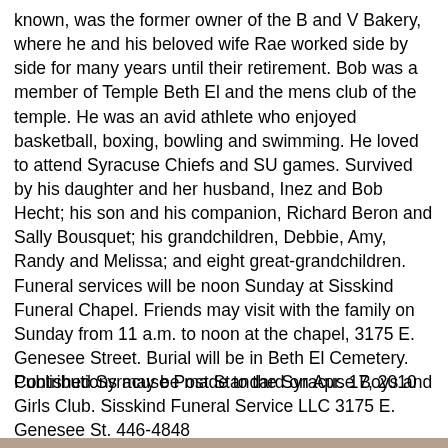known, was the former owner of the B and V Bakery, where he and his beloved wife Rae worked side by side for many years until their retirement. Bob was a member of Temple Beth El and the mens club of the temple. He was an avid athlete who enjoyed basketball, boxing, bowling and swimming. He loved to attend Syracuse Chiefs and SU games. Survived by his daughter and her husband, Inez and Bob Hecht; his son and his companion, Richard Beron and Sally Bousquet; his grandchildren, Debbie, Amy, Randy and Melissa; and eight great-grandchildren. Funeral services will be noon Sunday at Sisskind Funeral Chapel. Friends may visit with the family on Sunday from 11 a.m. to noon at the chapel, 3175 E. Genesee Street. Burial will be in Beth El Cemetery. Contributions may be made to the Syracuse Boys and Girls Club. Sisskind Funeral Service LLC 3175 E. Genesee St. 446-4848
Published Syracuse Post Standard on Apr. 17, 2010